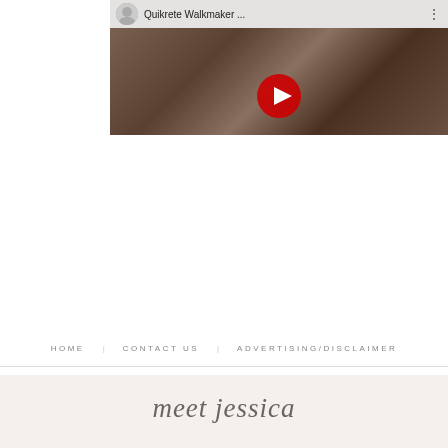[Figure (screenshot): YouTube video thumbnail for 'Quikrete Walkmaker ...' showing a garden path made of pavers, with a play button overlay and user avatar in the top bar.]
HOME   CONTACT US   ADVERTISING/DISCLAIMER
meet jessica